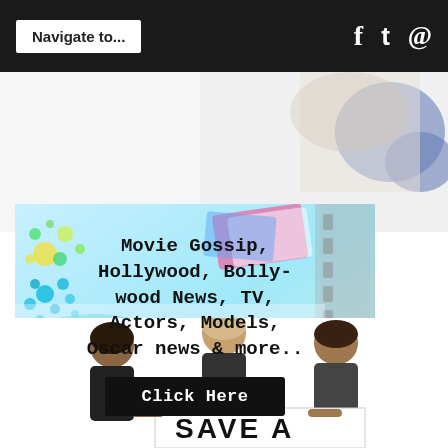Navigate to... [social icons: f  t  p]
[Figure (photo): Partial image of hands/objects on white background, cropped at top]
[Figure (infographic): Movie gossip advertisement banner with colorful background (blue, teal, green circles and film strip). Text reads: Movie Gossip, Hollywood, Bollywood News, TV, Actors, Models, Oscar news & more.. with a black Click Here button]
[Figure (photo): Three people (two women and one man/person with light hair) holding a sign partially visible reading SAVE A, cropped at bottom]